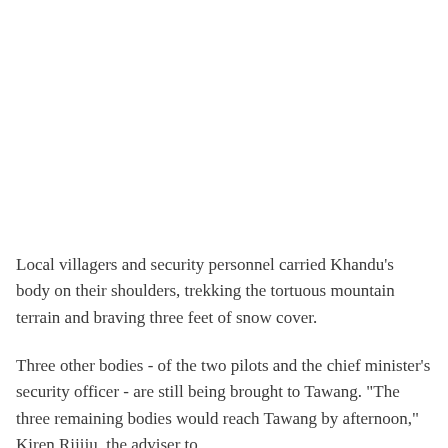Local villagers and security personnel carried Khandu's body on their shoulders, trekking the tortuous mountain terrain and braving three feet of snow cover.
Three other bodies - of the two pilots and the chief minister's security officer - are still being brought to Tawang. "The three remaining bodies would reach Tawang by afternoon," Kiren Rijiju, the adviser to